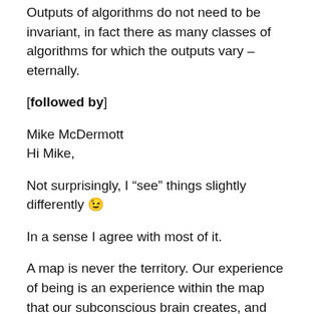Outputs of algorithms do not need to be invariant, in fact there as many classes of algorithms for which the outputs vary – eternally.
[followed by]
Mike McDermott
Hi Mike,
Not surprisingly, I “see” things slightly differently 😉
In a sense I agree with most of it.
A map is never the territory. Our experience of being is an experience within the map that our subconscious brain creates, and our language is, as you say, a set of pointers to things “experienced” at some level.
Language always starts in the physical, with nouns and